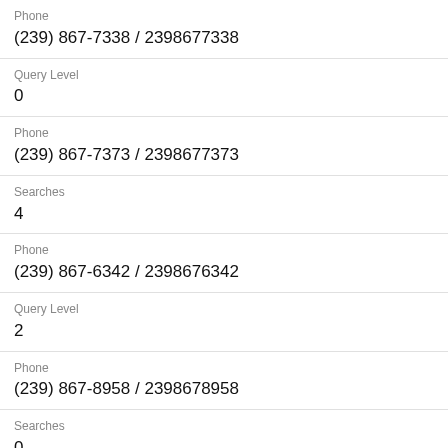Phone
(239) 867-7338 / 2398677338
Query Level
0
Phone
(239) 867-7373 / 2398677373
Searches
4
Phone
(239) 867-6342 / 2398676342
Query Level
2
Phone
(239) 867-8958 / 2398678958
Searches
0
Phone
(239) 867-6111 / 2398676111
Query Level